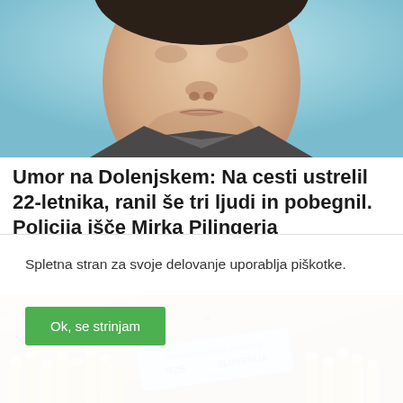[Figure (photo): Close-up photo of a man's face against a light blue/teal background, showing from neck up. The man has short dark hair, a neutral expression, and slight stubble. The image is cropped so only the lower part of the face (chin, lips, nose) and neck are clearly visible.]
Umor na Dolenjskem: Na cesti ustrelil 22-letnika, ranil še tri ljudi in pobegnil. Policija išče Mirka Pilingerja
[Figure (photo): Photo showing a crowd of people in yellow vests or jerseys, holding up what appears to be a light blue banner or sign with text including 'RZS' and other writing, in what looks like a sports or celebration event setting with a wooden floor visible.]
Spletna stran za svoje delovanje uporablja piškotke.
Ok, se strinjam